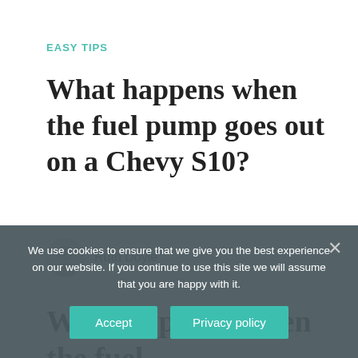EASY TIPS
What happens when the fuel pump goes out on a Chevy S10?
Ruth Doyle
What happens when the fuel
We use cookies to ensure that we give you the best experience on our website. If you continue to use this site we will assume that you are happy with it.